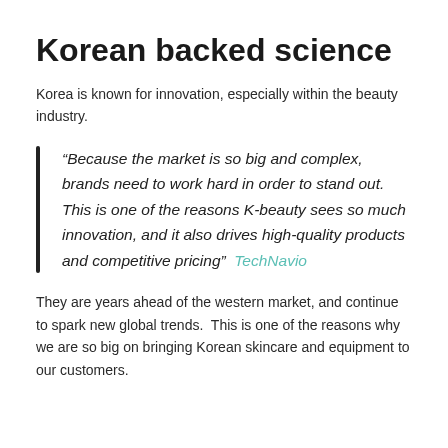Korean backed science
Korea is known for innovation, especially within the beauty industry.
“Because the market is so big and complex, brands need to work hard in order to stand out. This is one of the reasons K-beauty sees so much innovation, and it also drives high-quality products and competitive pricing”  TechNavio
They are years ahead of the western market, and continue to spark new global trends.  This is one of the reasons why we are so big on bringing Korean skincare and equipment to our customers.